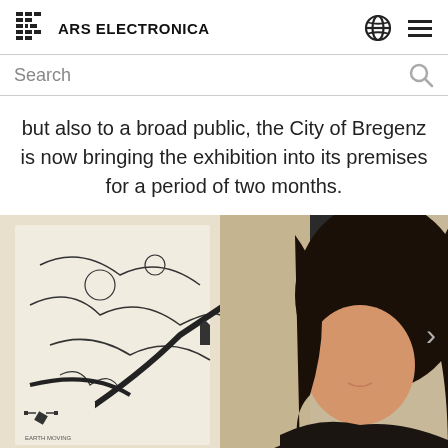ARS ELECTRONICA
Search
but also to a broad public, the City of Bregenz is now bringing the exhibition into its premises for a period of two months.
[Figure (photo): A woman with dark hair smiling and looking at an illustrated map or exhibit panel on a wall, shown in profile. The panel appears to be a detailed map illustration.]